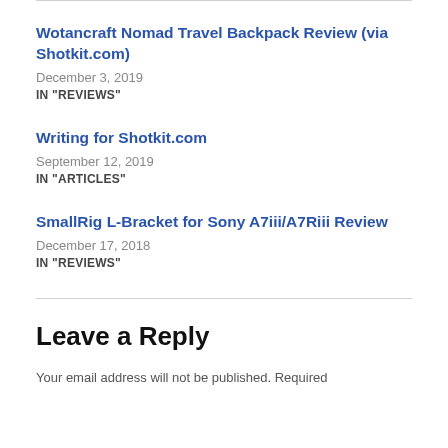Wotancraft Nomad Travel Backpack Review (via Shotkit.com)
December 3, 2019
IN "REVIEWS"
Writing for Shotkit.com
September 12, 2019
IN "ARTICLES"
SmallRig L-Bracket for Sony A7iii/A7Riii Review
December 17, 2018
IN "REVIEWS"
Leave a Reply
Your email address will not be published. Required